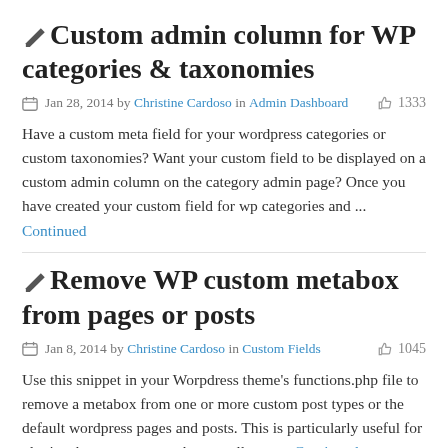✎ Custom admin column for WP categories & taxonomies
📅 Jan 28, 2014 by Christine Cardoso in Admin Dashboard  👍 1333
Have a custom meta field for your wordpress categories or custom taxonomies? Want your custom field to be displayed on a custom admin column on the category admin page? Once you have created your custom field for wp categories and ...
Continued
✎ Remove WP custom metabox from pages or posts
📅 Jan 8, 2014 by Christine Cardoso in Custom Fields  👍 1045
Use this snippet in your Worpdress theme's functions.php file to remove a metabox from one or more custom post types or the default wordpress pages and posts. This is particularly useful for plugins that output a metabox on all post ... Continued